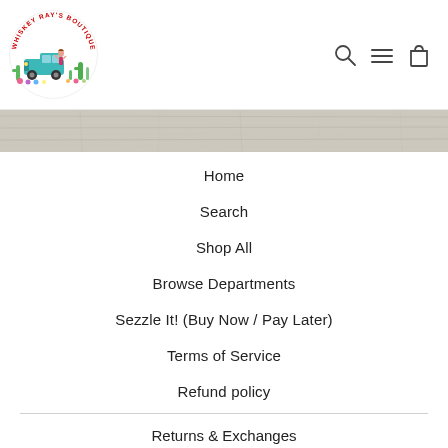[Figure (logo): Whiskey Ray's Boutique logo: circular badge with red text 'WHISKEY RAY'S BOUTIQUE' arched around top, featuring a teal vintage truck, a pin-up girl, and colorful cacti]
[Figure (illustration): Navigation icons: search (magnifying glass), hamburger menu (three lines), shopping bag]
[Figure (photo): Horizontal banner strip showing a weathered light grey wooden plank texture]
Home
Search
Shop All
Browse Departments
Sezzle It! (Buy Now / Pay Later)
Terms of Service
Refund policy
Returns & Exchanges